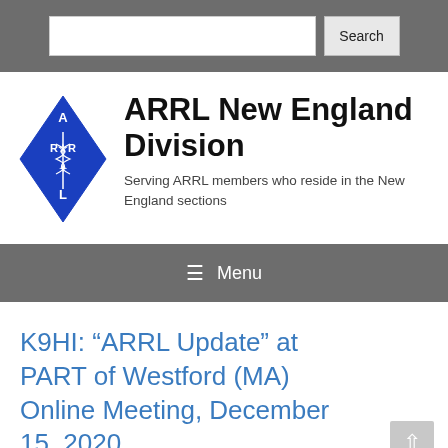Search
[Figure (logo): ARRL diamond shaped blue logo with letters A, R, R, L and a caduceus symbol in the center]
ARRL New England Division
Serving ARRL members who reside in the New England sections
Menu
K9HI: “ARRL Update” at PART of Westford (MA) Online Meeting, December 15, 2020